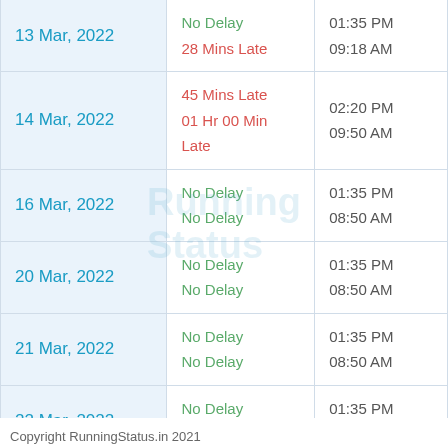| Date | Delay | Time |
| --- | --- | --- |
| 13 Mar, 2022 | No Delay
28 Mins Late | 01:35 PM
09:18 AM |
| 14 Mar, 2022 | 45 Mins Late
01 Hr 00 Min Late | 02:20 PM
09:50 AM |
| 16 Mar, 2022 | No Delay
No Delay | 01:35 PM
08:50 AM |
| 20 Mar, 2022 | No Delay
No Delay | 01:35 PM
08:50 AM |
| 21 Mar, 2022 | No Delay
No Delay | 01:35 PM
08:50 AM |
| 22 Mar, 2022 | No Delay
No Delay | 01:35 PM
08:50 AM |
| 25 Mar, 2022 | 01 Min Late
No Delay | 01:36 PM
08:50 AM |
Copyright RunningStatus.in 2021